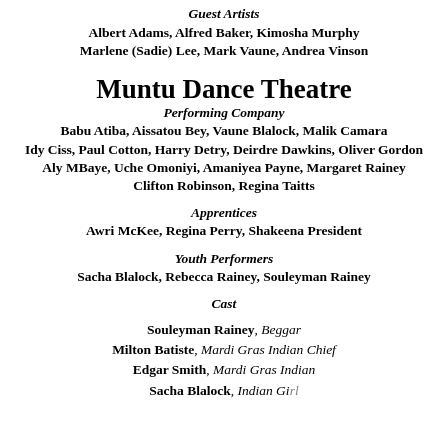Guest Artists
Albert Adams, Alfred Baker, Kimosha Murphy
Marlene (Sadie) Lee, Mark Vaune, Andrea Vinson
Muntu Dance Theatre
Performing Company
Babu Atiba, Aissatou Bey, Vaune Blalock, Malik Camara
Idy Ciss, Paul Cotton, Harry Detry, Deirdre Dawkins, Oliver Gordon
Aly MBaye, Uche Omoniyi, Amaniyea Payne, Margaret Rainey
Clifton Robinson, Regina Taitts
Apprentices
Awri McKee, Regina Perry, Shakeena President
Youth Performers
Sacha Blalock, Rebecca Rainey, Souleyman Rainey
Cast
Souleyman Rainey, Beggar
Milton Batiste, Mardi Gras Indian Chief
Edgar Smith, Mardi Gras Indian
Sacha Blalock, Indian Girl